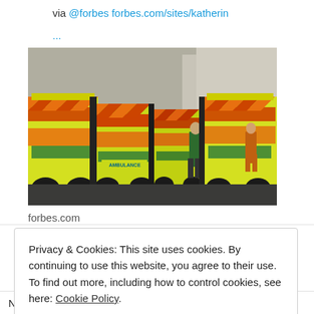via @forbes forbes.com/sites/katherin ...
[Figure (photo): Row of yellow UK ambulances with green and orange chevron markings lined up in a street, with paramedics in green uniforms visible between the vehicles. Urban setting with tall buildings in background.]
forbes.com
Privacy & Cookies: This site uses cookies. By continuing to use this website, you agree to their use. To find out more, including how to control cookies, see here: Cookie Policy
Close and accept
NEW: the collapse of emergency